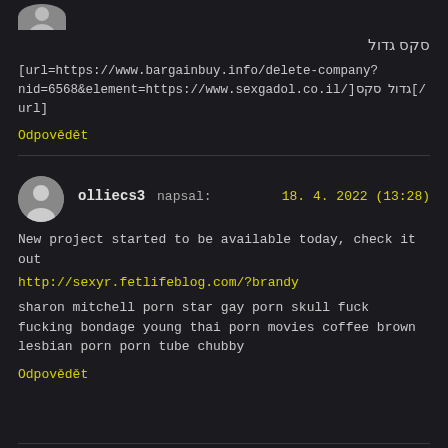[Figure (illustration): Partial grey avatar circle at top of page]
סקס גדול
[url=https://www.bargainbuy.info/delete-company?nid=6568&element=https://www.sexgadol.co.il/]גדול סקס[/url]
Odpovědět
[Figure (illustration): Grey avatar circle with person silhouette]
olliecs3 napsal:   18. 4. 2022 (13:28)
New project started to be available today, check it out
http://sexyr.fetlifeblog.com/?brandy
sharon mitchell porn star gay porn skull fuck fucking bondage young thai porn movies coffee brown lesbian porn porn tube chubby
Odpovědět